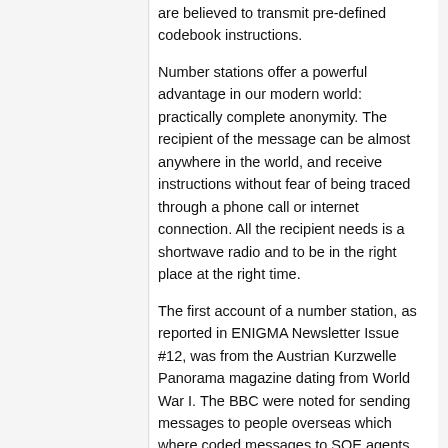are believed to transmit pre-defined codebook instructions.
Number stations offer a powerful advantage in our modern world: practically complete anonymity. The recipient of the message can be almost anywhere in the world, and receive instructions without fear of being traced through a phone call or internet connection. All the recipient needs is a shortwave radio and to be in the right place at the right time.
The first account of a number station, as reported in ENIGMA Newsletter Issue #12, was from the Austrian Kurzwelle Panorama magazine dating from World War I. The BBC were noted for sending messages to people overseas which where coded messages to SOE agents during WW2. From then on encrypted messages broadcasted with creepy automated voices have been being sent with stations appearing and disappearing as political events changed over the last 60 years. The amount of active stations has significantly decreased since the late 1990s, though